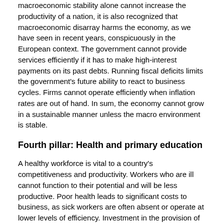macroeconomic stability alone cannot increase the productivity of a nation, it is also recognized that macroeconomic disarray harms the economy, as we have seen in recent years, conspicuously in the European context. The government cannot provide services efficiently if it has to make high-interest payments on its past debts. Running fiscal deficits limits the government's future ability to react to business cycles. Firms cannot operate efficiently when inflation rates are out of hand. In sum, the economy cannot grow in a sustainable manner unless the macro environment is stable.
Fourth pillar: Health and primary education
A healthy workforce is vital to a country's competitiveness and productivity. Workers who are ill cannot function to their potential and will be less productive. Poor health leads to significant costs to business, as sick workers are often absent or operate at lower levels of efficiency. Investment in the provision of health services is thus critical for clear economic, as well as moral, considerations. In addition to health, this pillar takes into account the quantity and quality of the basic education received by the population, which is increasingly important in today's economy. Basic education increases the efficiency of each individual